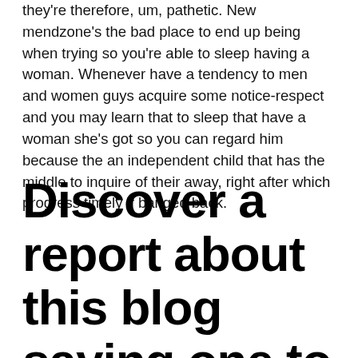they're therefore, um, pathetic. New mendzone's the bad place to end up being when trying so you're able to sleep having a woman. Whenever have a tendency to men and women guys acquire some notice-respect and you may learn that to sleep that have a woman she's got so you can regard him because the an independent child that has the middle to inquire of their away, right after which progress timely if banged back.
Discover a report about this blog saying one to men slide crazy straight away, while female